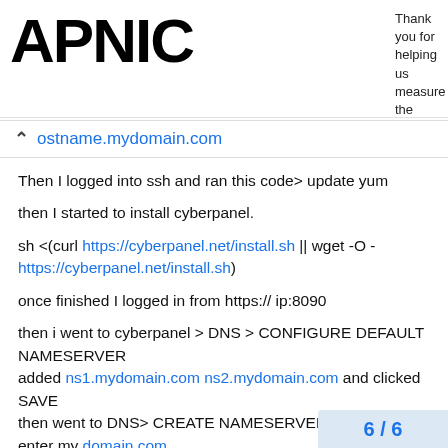APNIC — Thank you for helping us measure the Internet.
ostname.mydomain.com
Then I logged into ssh and ran this code> update yum
then I started to install cyberpanel.
sh <(curl https://cyberpanel.net/install.sh || wget -O - https://cyberpanel.net/install.sh)
once finished I logged in from https:// ip:8090
then i went to cyberpanel > DNS > CONFIGURE DEFAULT NAMESERVER
added ns1.mydomain.com ns2.mydomain.com and clicked SAVE
then went to DNS> CREATE NAMESERVER
enter my domain.com
ns1.domain.com IP address of my server
ns2.domain.com SAME IP of my server cli
6 / 6